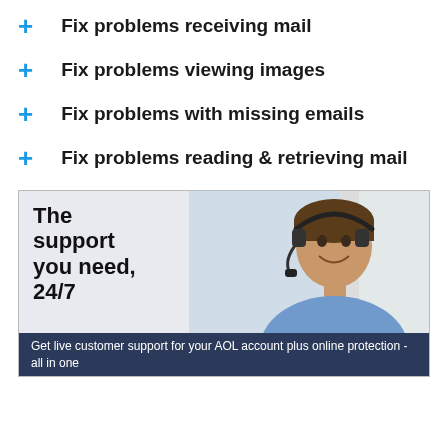Fix problems receiving mail
Fix problems viewing images
Fix problems with missing emails
Fix problems reading & retrieving mail
[Figure (photo): Advertisement banner showing a smiling man wearing a headset with text 'The support you need, 24/7' and footer text 'Get live customer support for your AOL account plus online protection - all in one']